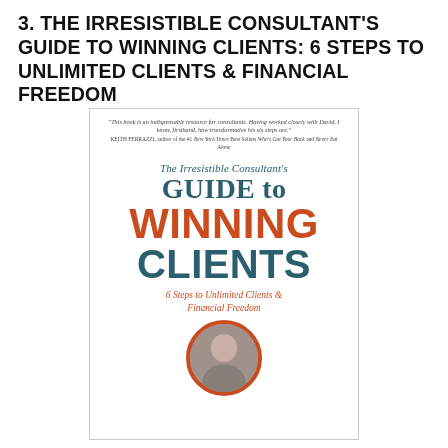3. THE IRRESISTIBLE CONSULTANT'S GUIDE TO WINNING CLIENTS: 6 STEPS TO UNLIMITED CLIENTS & FINANCIAL FREEDOM
[Figure (illustration): Book cover for 'The Irresistible Consultant's Guide to Winning Clients: 6 Steps to Unlimited Clients & Financial Freedom'. White background with a blurb at top from Keith Ferrazzi. Title text in teal and orange serif/sans-serif fonts. Author photo at the bottom in a circular frame with orange border.]